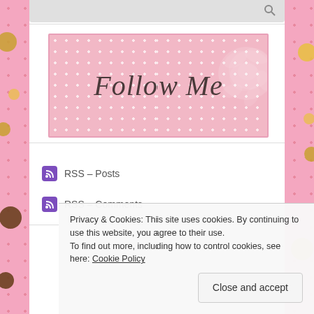[Figure (illustration): Pink search bar at top with search icon]
[Figure (illustration): Follow Me banner with pink polka dot background and rose decoration, cursive text reading 'Follow Me']
RSS – Posts
RSS – Comments
Privacy & Cookies: This site uses cookies. By continuing to use this website, you agree to their use.
To find out more, including how to control cookies, see here: Cookie Policy
Close and accept